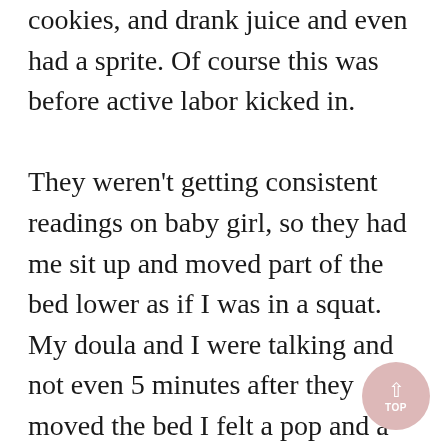cookies, and drank juice and even had a sprite. Of course this was before active labor kicked in.

They weren't getting consistent readings on baby girl, so they had me sit up and moved part of the bed lower as if I was in a squat. My doula and I were talking and not even 5 minutes after they moved the bed I felt a pop and a gush of fluid come out. My water broke at 4:25am. I was happy and laughed because of how wet I was. I got off the bed, and I was covered in fluid, I stood while they changed the sheets and as I was laughing I had more fluid come out, a LOT more fluid. I felt the urge to use the bathroom and walked in and couldn't make it on because I had